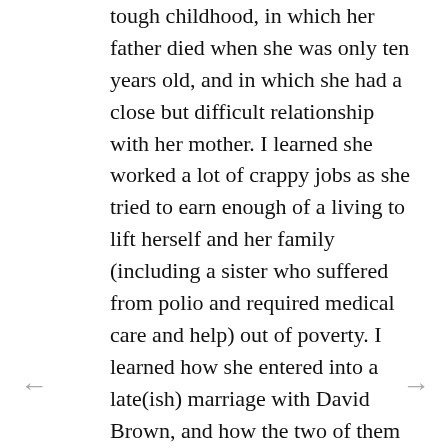tough childhood, in which her father died when she was only ten years old, and in which she had a close but difficult relationship with her mother. I learned she worked a lot of crappy jobs as she tried to earn enough of a living to lift herself and her family (including a sister who suffered from polio and required medical care and help) out of poverty. I learned how she entered into a late(ish) marriage with David Brown, and how the two of them shared both a professional and working bond as well as a loving one. I learned she could be a difficult woman; an extremely driven woman; a painfully frugal woman (even when she had way more than enough money); a stubborn woman.